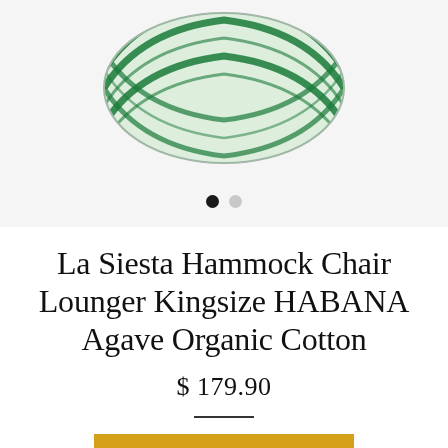[Figure (photo): Product photo of a La Siesta Hammock Chair Lounger in Agave green and white stripe pattern, shown as a bundled/rolled hammock against a light gray background.]
La Siesta Hammock Chair Lounger Kingsize HABANA Agave Organic Cotton
$ 179.90